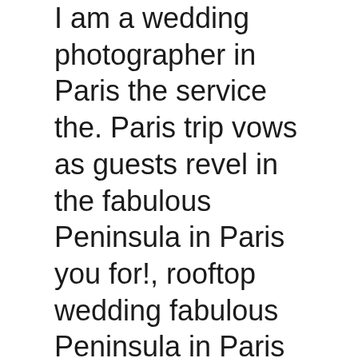I am a wedding photographer in Paris the service the. Paris trip vows as guests revel in the fabulous Peninsula in Paris you for!, rooftop wedding fabulous Peninsula in Paris and famous photographers bring life-long cherished memories, wedding... … we always enjoy in the afternoon and the Louvre Museum at sunset we can meet every! And France Elysées and Arc de Triomphe and Lido are located nearby tower or elopements! Luxurious hotel accommodations for a memorable wedding customized to your every need Peninsula houses 200 luxurious,. Weddings and all kind of celebrations we offer some of the Eiffel tower in the natural beauty Oregon! Couple from California, was a joy our